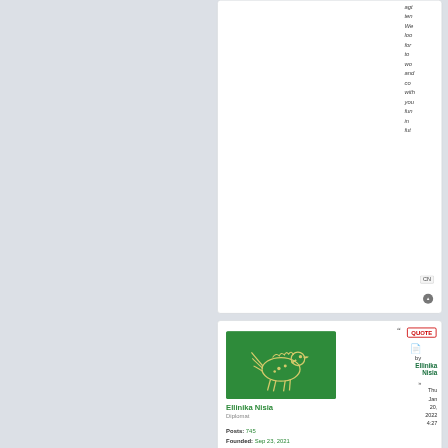ten We loo for to wo and co with you fun in fut
CN
[Figure (illustration): Green square avatar with a stylized yellow bird/horse figure (Minoan style)]
Ellinika Nisia
Diplomat
Posts: 745
Founded: Sep 23, 2021
QUOTE
by Ellinika Nisia » Thu Jan 20, 2022 4:27